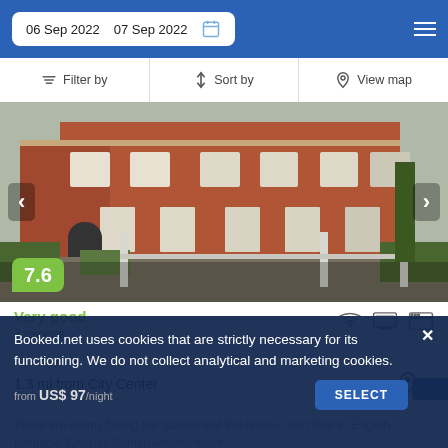06 Sep 2022   07 Sep 2022
Filter by   Sort by   View map
[Figure (photo): Exterior photo of a red-brick Victorian hotel building with garden and white fence, navigation arrows on left and right, score badge 7.6 in green at bottom left]
Very good
3 reviews
1.3 mi from City Center
There are rooms facing the garden and the hotel is set close to English Heritage: Chester Roman Amphitheatre.
Booked.net uses cookies that are strictly necessary for its functioning. We do not collect analytical and marketing cookies.
from US$ 97/night   SELECT